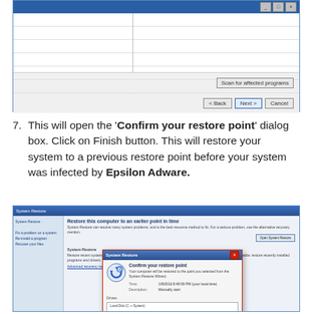[Figure (screenshot): Windows System Restore dialog showing a table with restore points and navigation buttons (< Back, Next >, Cancel) and 'Scan for affected programs' button]
7. This will open the 'Confirm your restore point' dialog box. Click on Finish button. This will restore your system to a previous restore point before your system was infected by Epsilon Adware.
[Figure (screenshot): Windows System Restore window showing 'Restore this computer to an earlier point in time' with a nested dialog 'Confirm your restore point' containing icon, description, date/time, and drives fields]